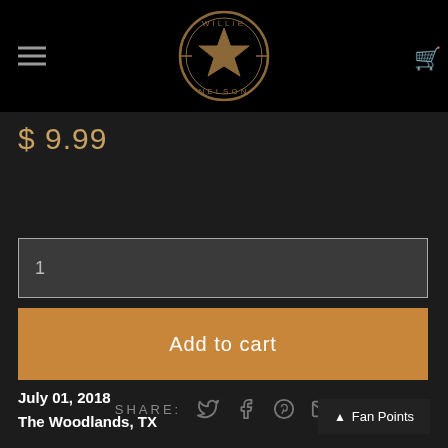[Figure (logo): Willie Nelson star logo with circular text reading WILLIE NELSON on black background, with hamburger menu icon on left and shopping cart icon on right]
$ 9.99
1
Add to cart
SHARE:
July 01, 2018
The Woodlands, TX
Fan Points